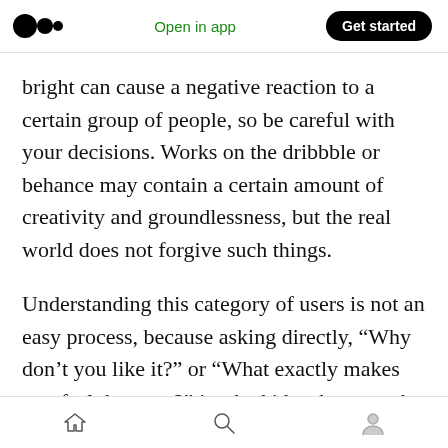Medium logo | Open in app | Get started
bright can cause a negative reaction to a certain group of people, so be careful with your decisions. Works on the dribbble or behance may contain a certain amount of creativity and groundlessness, but the real world does not forgive such things.
Understanding this category of users is not an easy process, because asking directly, “Why don’t you like it?” or “What exactly makes you feel that way?” is a bad idea, because the answers to subjective questions will also be subjective, not
Home | Search | Profile